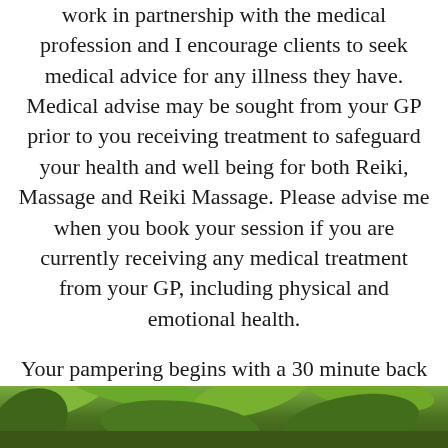work in partnership with the medical profession and I encourage clients to seek medical advice for any illness they have. Medical advise may be sought from your GP prior to you receiving treatment to safeguard your health and well being for both Reiki, Massage and Reiki Massage. Please advise me when you book your session if you are currently receiving any medical treatment from your GP, including physical and emotional health.

Your pampering begins with a 30 minute back massage, followed by 30 minutes of gentle hands on Reiki. This will take place on a comfortable treatment couch in a tranquil environment.
[Figure (photo): Bottom strip showing green leaves/plants, partial view at bottom of page]